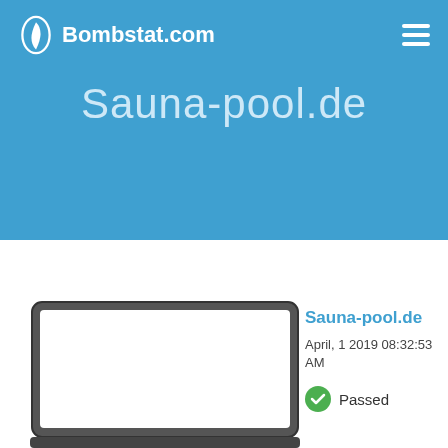Bombstat.com
Sauna-pool.de
[Figure (screenshot): Laptop/monitor frame showing a white screen preview of the Sauna-pool.de website]
Sauna-pool.de
April, 1 2019 08:32:53 AM
Passed